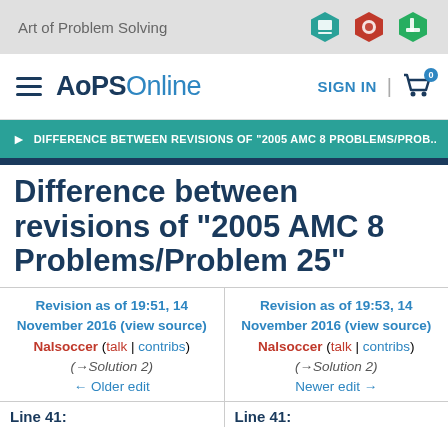Art of Problem Solving
AoPS Online
DIFFERENCE BETWEEN REVISIONS OF "2005 AMC 8 PROBLEMS/PROB...
Difference between revisions of "2005 AMC 8 Problems/Problem 25"
Revision as of 19:51, 14 November 2016 (view source)
Nalsoccer (talk | contribs)
(→Solution 2)
← Older edit
Revision as of 19:53, 14 November 2016 (view source)
Nalsoccer (talk | contribs)
(→Solution 2)
Newer edit →
Line 41:
Line 41: